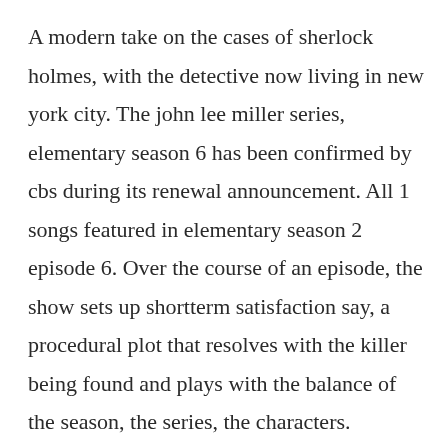A modern take on the cases of sherlock holmes, with the detective now living in new york city. The john lee miller series, elementary season 6 has been confirmed by cbs during its renewal announcement. All 1 songs featured in elementary season 2 episode 6. Over the course of an episode, the show sets up shortterm satisfaction say, a procedural plot that resolves with the killer being found and plays with the balance of the season, the series, the characters. Storylineset in baltimore, this show centers around the citys